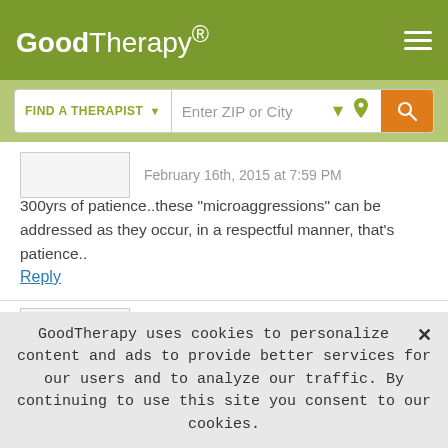GoodTherapy®
FIND A THERAPIST ▾   Enter ZIP or City
February 16th, 2015 at 7:59 PM
300yrs of patience..these "microaggressions" can be addressed as they occur, in a respectful manner, that's patience..
Reply
Patricia
February 16th, 2015 at 9:16 AM
GoodTherapy uses cookies to personalize content and ads to provide better services for our users and to analyze our traffic. By continuing to use this site you consent to our cookies.